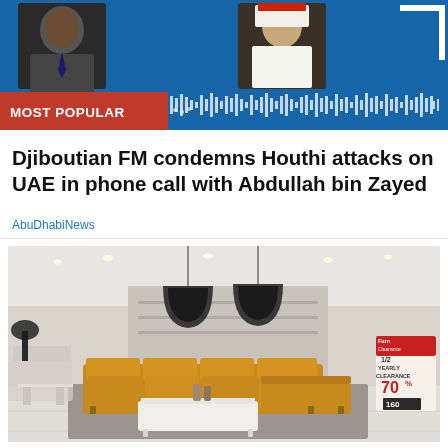[Figure (screenshot): Top banner with blue background showing two portrait photos of men (one in suit and tie, one in traditional Arab dress), a red 'MOST POPULAR' label, and an audio waveform visualization in white on blue.]
Djiboutian FM condemns Houthi attacks on UAE in phone call with Abdullah bin Zayed
AbuDhabiNews
[Figure (photo): Interior of a furniture showroom with yellow/mustard leather sectional sofa, white coffee table, pendant lights, and a sale sign showing '1/2 YEARLY CLEARANCE 70%' and '160'.]